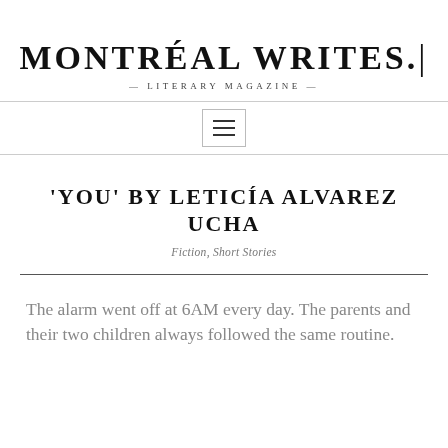MONTRÉAL WRITES. | — LITERARY MAGAZINE —
'YOU' BY LETICÍA ALVAREZ UCHA
Fiction, Short Stories
The alarm went off at 6AM every day. The parents and their two children always followed the same routine.